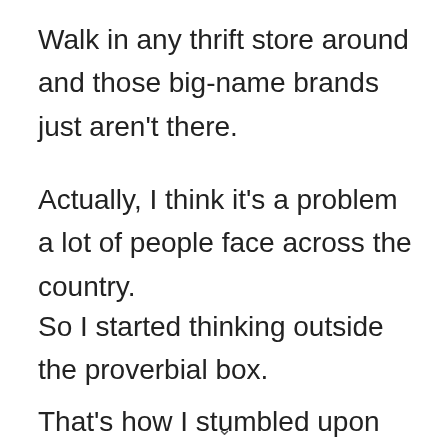Walk in any thrift store around and those big-name brands just aren't there.
Actually, I think it's a problem a lot of people face across the country.
So I started thinking outside the proverbial box.
That's how I stumbled upon this